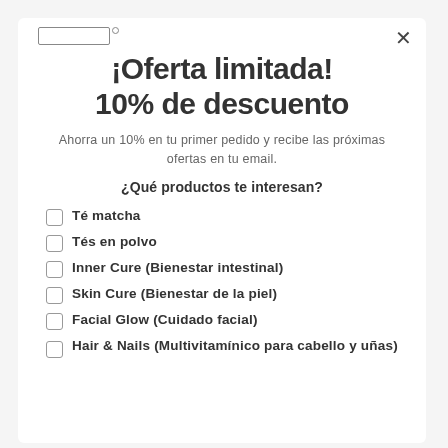[Figure (other): Logo placeholder bar with registered trademark symbol]
¡Oferta limitada! 10% de descuento
Ahorra un 10% en tu primer pedido y recibe las próximas ofertas en tu email.
¿Qué productos te interesan?
Té matcha
Tés en polvo
Inner Cure (Bienestar intestinal)
Skin Cure (Bienestar de la piel)
Facial Glow (Cuidado facial)
Hair & Nails (Multivitamínico para cabello y uñas)